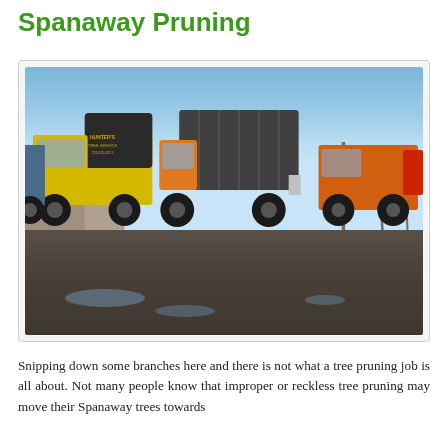Spanaway Pruning
[Figure (photo): Photograph of tree service trucks (yellow and orange) parked in a lot, with bare winter trees and blue sky in the background. One truck is labeled 'Hunter's Tree Service'.]
Snipping down some branches here and there is not what a tree pruning job is all about. Not many people know that improper or reckless tree pruning may move their Spanaway trees towards